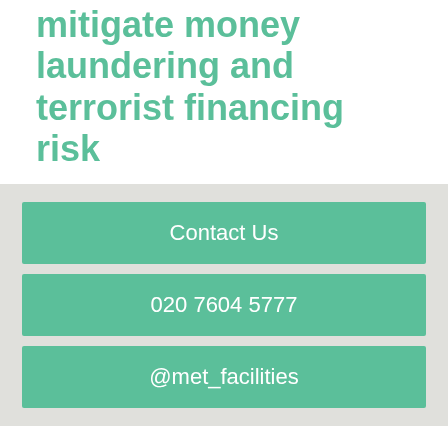mitigate money laundering and terrorist financing risk
Contact Us
020 7604 5777
@met_facilities
Our Twitter feed is currently unavailable but you can visit our official twitter page @met_facilities.
Office
77-79 Maygrove Road